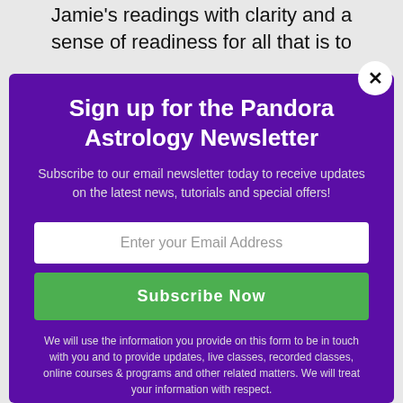Jamie's readings with clarity and a sense of readiness for all that is to
Sign up for the Pandora Astrology Newsletter
Subscribe to our email newsletter today to receive updates on the latest news, tutorials and special offers!
Enter your Email Address
Subscribe Now
We will use the information you provide on this form to be in touch with you and to provide updates, live classes, recorded classes, online courses & programs and other related matters. We will treat your information with respect.